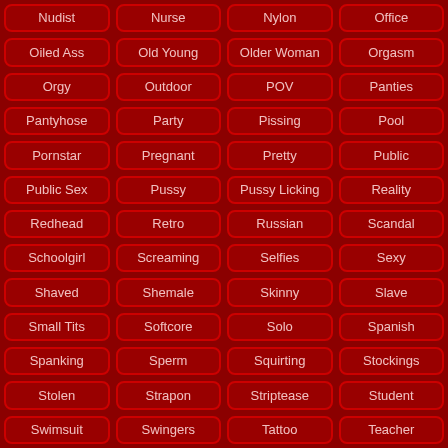Nudist
Nurse
Nylon
Office
Oiled Ass
Old Young
Older Woman
Orgasm
Orgy
Outdoor
POV
Panties
Pantyhose
Party
Pissing
Pool
Pornstar
Pregnant
Pretty
Public
Public Sex
Pussy
Pussy Licking
Reality
Redhead
Retro
Russian
Scandal
Schoolgirl
Screaming
Selfies
Sexy
Shaved
Shemale
Skinny
Slave
Small Tits
Softcore
Solo
Spanish
Spanking
Sperm
Squirting
Stockings
Stolen
Strapon
Striptease
Student
Swimsuit
Swingers
Tattoo
Teacher